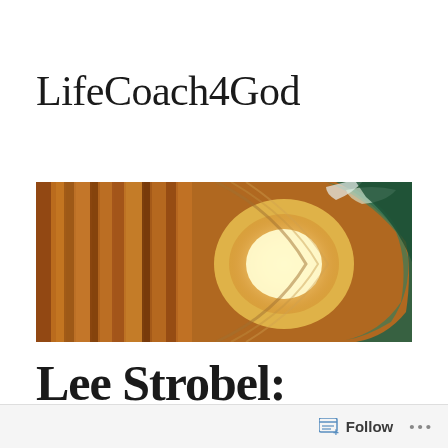LifeCoach4God
[Figure (photo): A wide banner image of an ocean wave from inside the barrel, with warm orange/brown water on the left and teal/green water curling on the right, with a bright light visible through the tube of the wave.]
Lee Strobel:
Follow ...